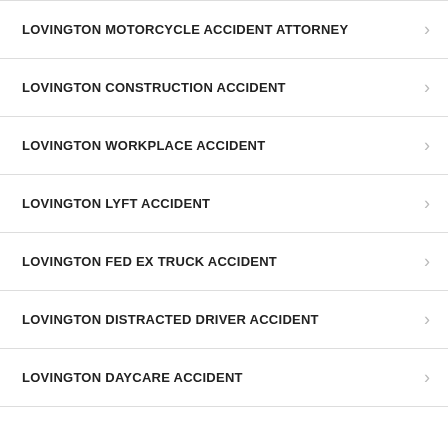LOVINGTON MOTORCYCLE ACCIDENT ATTORNEY
LOVINGTON CONSTRUCTION ACCIDENT
LOVINGTON WORKPLACE ACCIDENT
LOVINGTON LYFT ACCIDENT
LOVINGTON FED EX TRUCK ACCIDENT
LOVINGTON DISTRACTED DRIVER ACCIDENT
LOVINGTON DAYCARE ACCIDENT